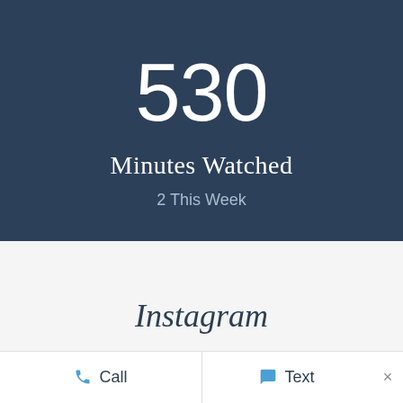530
Minutes Watched
2 This Week
Instagram
Call
Text
×